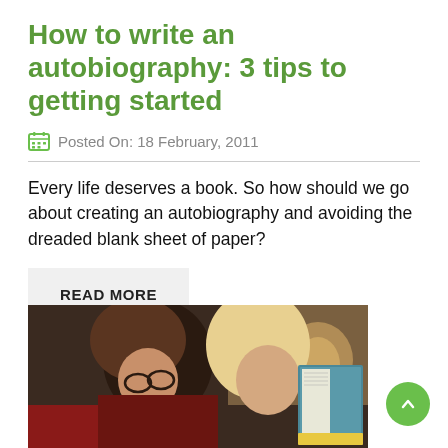How to write an autobiography: 3 tips to getting started
Posted On: 18 February, 2011
Every life deserves a book. So how should we go about creating an autobiography and avoiding the dreaded blank sheet of paper?
READ MORE
[Figure (photo): A woman with glasses and a young blonde child reading a book together]